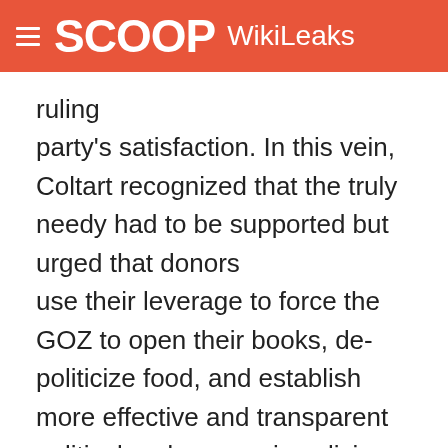SCOOP WikiLeaks
ruling party's satisfaction. In this vein, Coltart recognized that the truly needy had to be supported but urged that donors use their leverage to force the GOZ to open their books, de-politicize food, and establish more effective and transparent political and economic policies. He noted that the generosity of countries like the United States had allowed the regime to survive to date.
22. (SBU) In closing, Coltart urged the USG to use